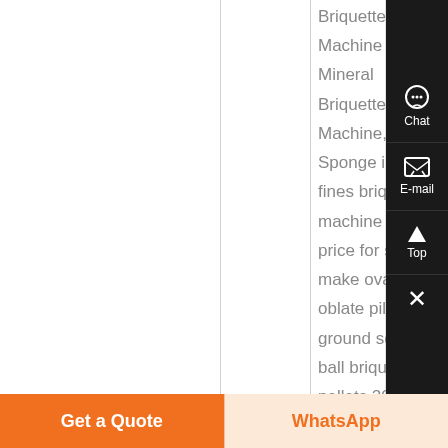Briquette Machine Mineral Briquette Machine, Sponge iron ore fines briquette machine factory price for sale to make oval oblate pillow ground square ball briquettes pellets 200000 12000000 set 1
[Figure (screenshot): Chat and E-mail sidebar buttons on dark background, with Top and close (X) buttons]
Get a Quote
WhatsApp